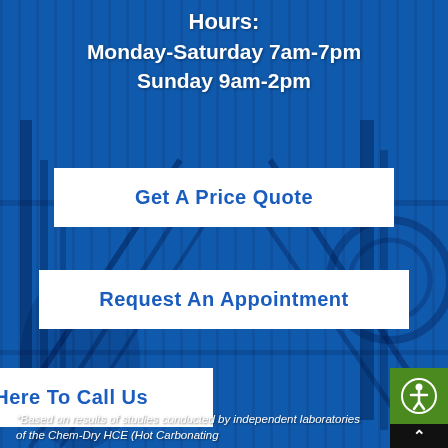Hours:
Monday-Saturday 7am-7pm
Sunday 9am-2pm
Get A Price Quote
Request An Appointment
Click Here To Call Us
*Based on results of studies conducted by independent laboratories of the Chem-Dry HCE (Hot Carbonating